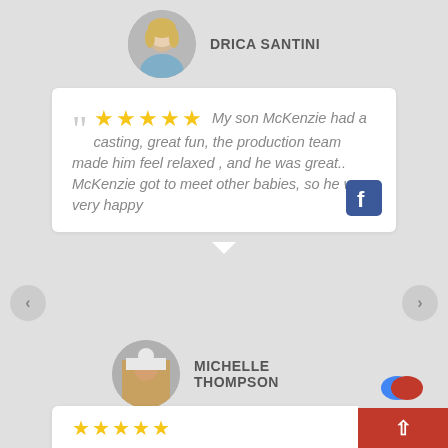DRICA SANTINI
My son McKenzie had a casting, great fun, the production team made him feel relaxed , and he was great.. McKenzie got to meet other babies, so he was very happy
MICHELLE THOMPSON